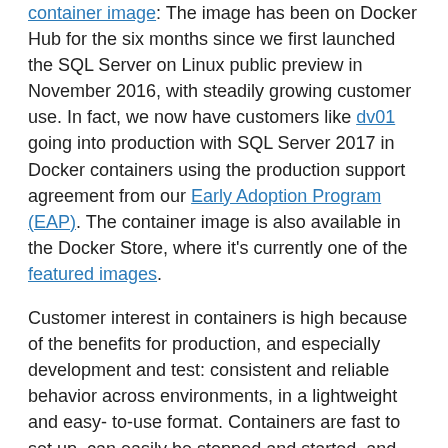container image: The image has been on Docker Hub for the six months since we first launched the SQL Server on Linux public preview in November 2016, with steadily growing customer use. In fact, we now have customers like dv01 going into production with SQL Server 2017 in Docker containers using the production support agreement from our Early Adoption Program (EAP). The container image is also available in the Docker Store, where it's currently one of the featured images.
Customer interest in containers is high because of the benefits for production, and especially development and test: consistent and reliable behavior across environments, in a lightweight and easy- to-use format. Containers are fast to set up, can easily be stopped and started, and give users the ability to spin up multiple containers together using tools like docker-compose to easily start and interconnect database, application, and other services containers in a micro-services architecture.